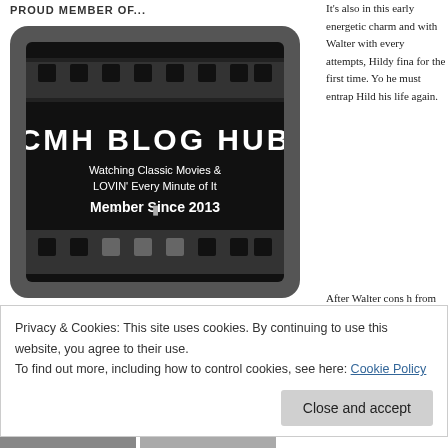PROUD MEMBER OF...
[Figure (logo): CMH Blog Hub badge - black film strip style badge with text: CMH BLOG HUB, Watching Classic Movies & LOVIN' Every Minute of It, Member Since 2013]
GORGEOUS PHOTOS
It's also in this early energetic charm and with Walter with every attempts, Hildy fina for the first time. Yo he must entrap Hild his life again.
After Walter cons h from the exact same difficult to sway as bring with all the 'c
Privacy & Cookies: This site uses cookies. By continuing to use this website, you agree to their use.
To find out more, including how to control cookies, see here: Cookie Policy
Close and accept